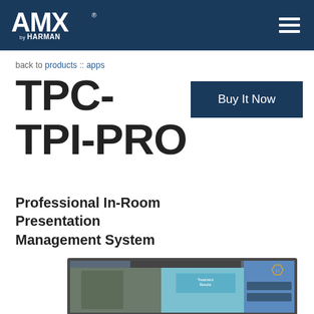AMX by HARMAN
back to products :: apps
TPC-TPI-PRO
Buy It Now
Professional In-Room Presentation Management System
[Figure (screenshot): AMX TPC-TPI-PRO product interface screenshot showing a presentation management display with multiple windows including a video of a presenter at a chalkboard and a 'Treatment Results' slide panel, with control buttons on the right side]